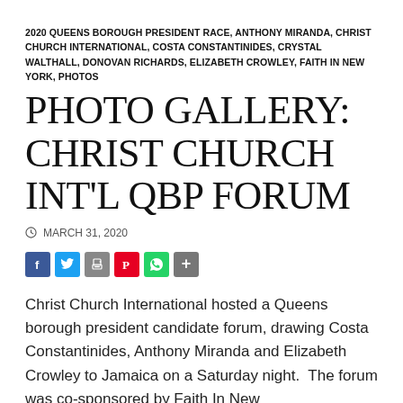2020 QUEENS BOROUGH PRESIDENT RACE, ANTHONY MIRANDA, CHRIST CHURCH INTERNATIONAL, COSTA CONSTANTINIDES, CRYSTAL WALTHALL, DONOVAN RICHARDS, ELIZABETH CROWLEY, FAITH IN NEW YORK, PHOTOS
PHOTO GALLERY: CHRIST CHURCH INT'L QBP FORUM
MARCH 31, 2020
[Figure (other): Social share buttons: Facebook, Twitter, Print, Pinterest, WhatsApp, More]
Christ Church International hosted a Queens borough president candidate forum, drawing Costa Constantinides, Anthony Miranda and Elizabeth Crowley to Jamaica on a Saturday night.  The forum was co-sponsored by Faith In New